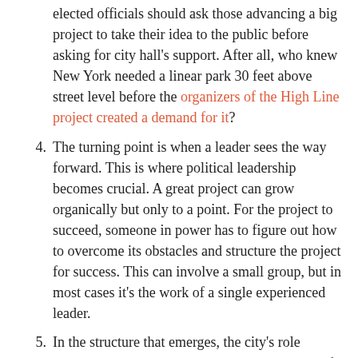elected officials should ask those advancing a big project to take their idea to the public before asking for city hall's support. After all, who knew New York needed a linear park 30 feet above street level before the organizers of the High Line project created a demand for it?
4. The turning point is when a leader sees the way forward. This is where political leadership becomes crucial. A great project can grow organically but only to a point. For the project to succeed, someone in power has to figure out how to overcome its obstacles and structure the project for success. This can involve a small group, but in most cases it's the work of a single experienced leader.
5. In the structure that emerges, the city's role remains limited. Average leaders seize control of projects, but great ones are comfortable sharing the wheel.